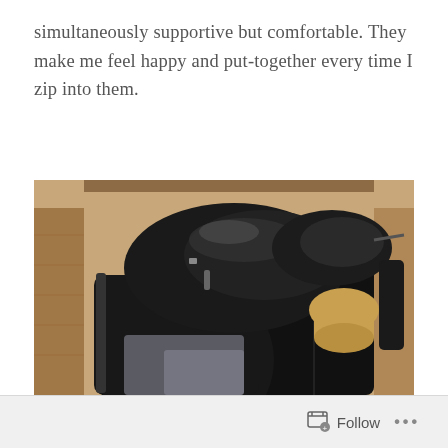simultaneously supportive but comfortable. They make me feel happy and put-together every time I zip into them.
[Figure (photo): Black leather riding boots inside a cardboard shipping box, with a wooden boot tree visible inside one boot]
Follow ...